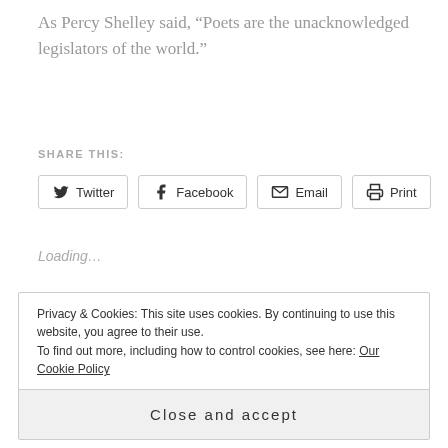As Percy Shelley said, “Poets are the unacknowledged legislators of the world.”
SHARE THIS:
Twitter  Facebook  Email  Print
Loading…
Privacy & Cookies: This site uses cookies. By continuing to use this website, you agree to their use.
To find out more, including how to control cookies, see here: Our Cookie Policy
Close and accept